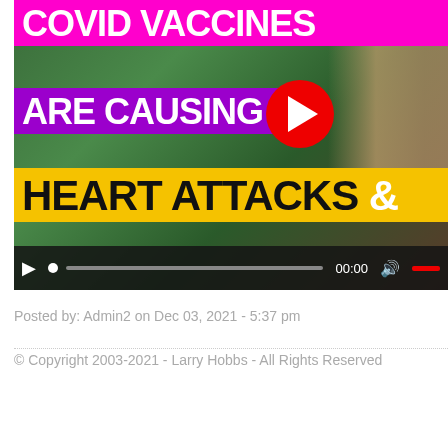[Figure (screenshot): Video thumbnail showing text overlays: 'COVID VACCINES ARE CAUSING HEART ATTACKS &' on pink, purple, and yellow bars with a play button and video controls. A person's face is partially visible on the right side.]
Posted by: Admin2 on Dec 03, 2021 - 5:37 pm
© Copyright 2003-2021 - Larry Hobbs - All Rights Reserved